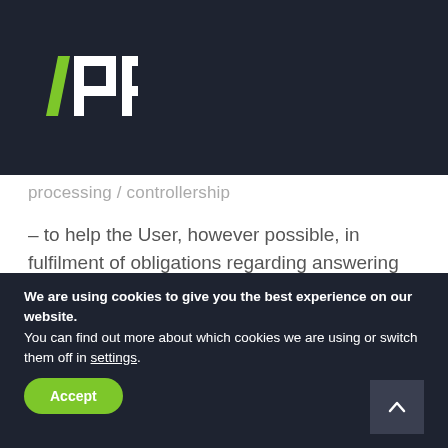[Figure (logo): 4PP logo — a diagonal slash in green followed by 'PP' in white block letters on dark background]
processing / controllership
– to help the User, however possible, in fulfilment of obligations regarding answering requests for realising the examinees' rights
– help the User, however reasonable, in ensuring compatibility with obligations in accordance with
We are using cookies to give you the best experience on our website.
You can find out more about which cookies we are using or switch them off in settings.